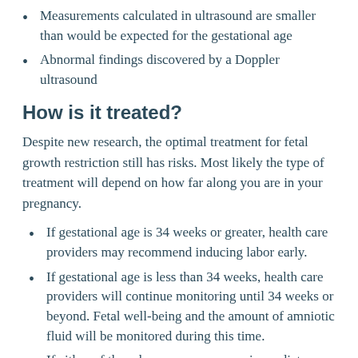Measurements calculated in ultrasound are smaller than would be expected for the gestational age
Abnormal findings discovered by a Doppler ultrasound
How is it treated?
Despite new research, the optimal treatment for fetal growth restriction still has risks. Most likely the type of treatment will depend on how far along you are in your pregnancy.
If gestational age is 34 weeks or greater, health care providers may recommend inducing labor early.
If gestational age is less than 34 weeks, health care providers will continue monitoring until 34 weeks or beyond. Fetal well-being and the amount of amniotic fluid will be monitored during this time.
If either of these becomes a concern, immediate delivery may be recommended. Depending on your